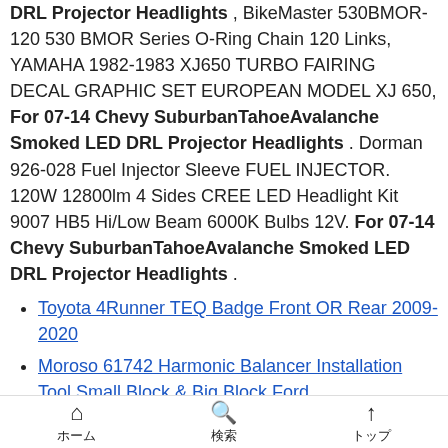DRL Projector Headlights , BikeMaster 530BMOR-120 530 BMOR Series O-Ring Chain 120 Links, YAMAHA 1982-1983 XJ650 TURBO FAIRING DECAL GRAPHIC SET EUROPEAN MODEL XJ 650, For 07-14 Chevy SuburbanTahoeAvalanche Smoked LED DRL Projector Headlights . Dorman 926-028 Fuel Injector Sleeve FUEL INJECTOR. 120W 12800lm 4 Sides CREE LED Headlight Kit 9007 HB5 Hi/Low Beam 6000K Bulbs 12V. For 07-14 Chevy SuburbanTahoeAvalanche Smoked LED DRL Projector Headlights .
Toyota 4Runner TEQ Badge Front OR Rear 2009-2020
Moroso 61742 Harmonic Balancer Installation Tool Small Block & Big Block Ford
NEW ABS WHEEL SPEED SENSOR BRAKES **FOR 2002-2007 MITSUBISHI FRONT LEFT DRIVER
ホーム  検索  トップ